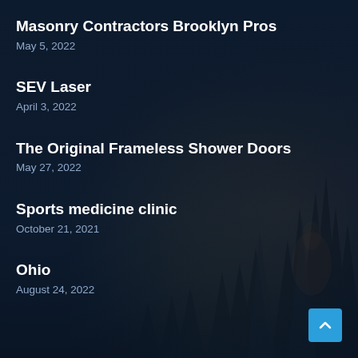Masonry Contractors Brooklyn Pros
May 5, 2022
SEV Laser
April 3, 2022
The Original Frameless Shower Doors
May 27, 2022
Sports medicine clinic
October 21, 2021
Ohio
August 24, 2022